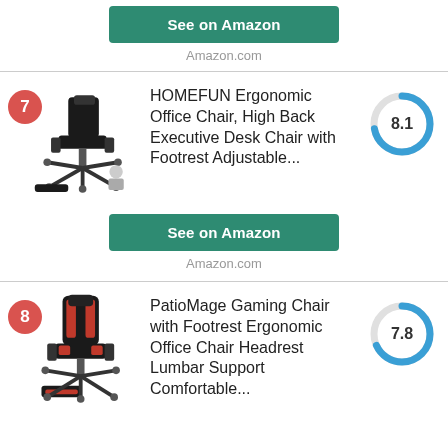See on Amazon
Amazon.com
7
HOMEFUN Ergonomic Office Chair, High Back Executive Desk Chair with Footrest Adjustable...
[Figure (donut-chart): Score]
See on Amazon
Amazon.com
8
PatioMage Gaming Chair with Footrest Ergonomic Office Chair Headrest Lumbar Support Comfortable...
[Figure (donut-chart): Score]
See on Amazon
Amazon.com